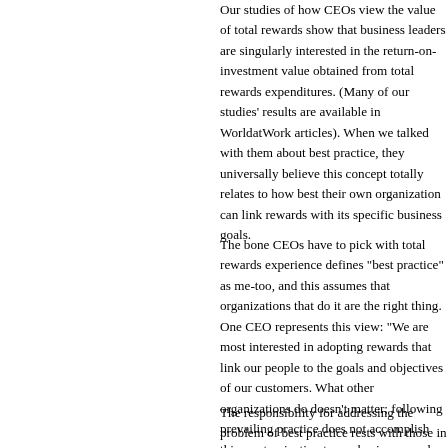Our studies of how CEOs view the value of total rewards show that business leaders are singularly interested in the return-on-investment value obtained from total rewards expenditures. (Many of our studies' results are available in WorldatWork articles). When we talked with them about best practice, they universally believe this concept totally relates to how best their own organization can link rewards with its specific business goals.
The bone CEOs have to pick with total rewards experience defines "best practice" as me-too, and this assumes that organizations that do it are the right thing. One CEO represents this view: "We are most interested in adopting rewards that link our people to the goals and objectives of our customers. What other organizations do doesn't matter; following prevailing practice does not accomplish this; customization to our business needs does."
The responsibility for addressing the problem of best practice rests with those in the total rewards field who often ignored gaining the knowledge nee